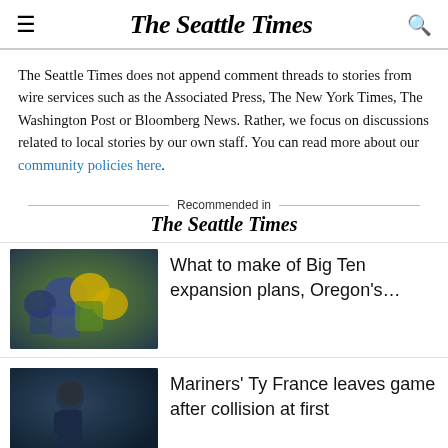The Seattle Times
The Seattle Times does not append comment threads to stories from wire services such as the Associated Press, The New York Times, The Washington Post or Bloomberg News. Rather, we focus on discussions related to local stories by our own staff. You can read more about our community policies here.
Recommended in The Seattle Times
[Figure (photo): Football players in a tackle during a college football game, players wearing purple/gold and green/yellow uniforms]
What to make of Big Ten expansion plans, Oregon’s…
[Figure (photo): Baseball player in dark uniform at a game, close-up action shot]
Mariners’ Ty France leaves game after collision at first